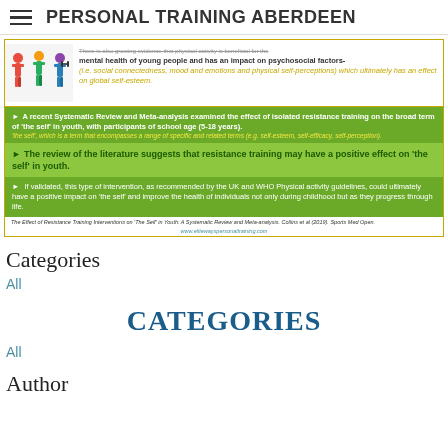PERSONAL TRAINING ABERDEEN
[Figure (infographic): Infographic with illustrated people and text about physical activity benefits for youth mental health and self-esteem. Contains bullet points about systematic review of resistance training effects on 'the self' in youth.]
Categories
All
CATEGORIES
All
Author